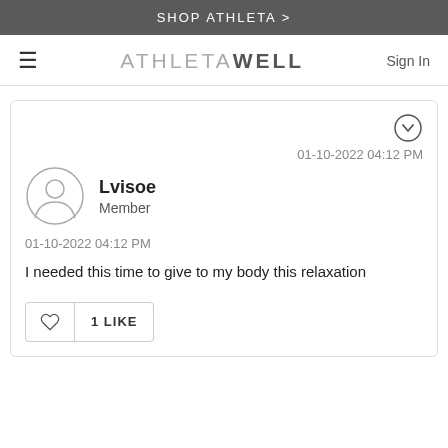SHOP ATHLETA >
ATHLETAWELL  Sign In
01-10-2022 04:12 PM
Lvisoe
Member
01-10-2022 04:12 PM
I needed this time to give to my body this relaxation
1 LIKE